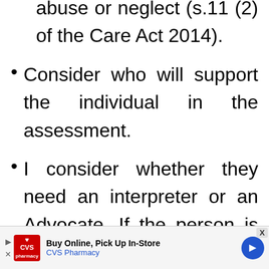abuse or neglect (s.11 (2) of the Care Act 2014).
Consider who will support the individual in the assessment.
I consider whether they need an interpreter or an Advocate. If the person is deaf or blind, the Care Act states that the assessment should be carried